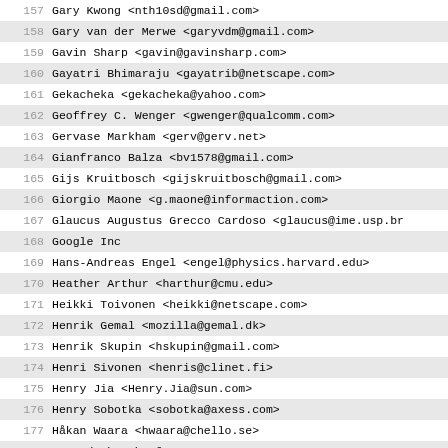157   Gary Kwong <nth10sd@gmail.com>
158   Gary van der Merwe <garyvdm@gmail.com>
159   Gavin Sharp <gavin@gavinsharp.com>
160   Gayatri Bhimaraju <gayatrib@netscape.com>
161   Gekacheka <gekacheka@yahoo.com>
162   Geoffrey C. Wenger <gwenger@qualcomm.com>
163   Gervase Markham <gerv@gerv.net>
164   Gianfranco Balza <bv1578@gmail.com>
165   Gijs Kruitbosch <gijskruitbosch@gmail.com>
166   Giorgio Maone <g.maone@informaction.com>
167   Glaucus Augustus Grecco Cardoso <glaucus@ime.usp.br>
168   Google Inc
169   Hans-Andreas Engel <engel@physics.harvard.edu>
170   Heather Arthur <harthur@cmu.edu>
171   Heikki Toivonen <heikki@netscape.com>
172   Henrik Gemal <mozilla@gemal.dk>
173   Henrik Skupin <hskupin@gmail.com>
174   Henri Sivonen <henris@clinet.fi>
175   Henry Jia <Henry.Jia@sun.com>
176   Henry Sobotka <sobotka@axess.com>
177   Håkan Waara <hwaara@chello.se>
178   Howard Chu <hyc@symas.com>
179   Hubert Gajewski <hubert@hubertgajewski.com>
180   Ian McGreer <mcgreer@netscape.com>
181   Ian Neal <iann_bugzilla@blueyonder.co.uk>
182   IBM Corporation
183   Irakli Gozalishvili <rfobic@gmail.com>
184   James Green <jg@cyberstorm.demon.co.uk>
185   Jamie Zawinski <jwz@jwz.org>
186   Jan Horak <jhorak@redhat.com>
187   Jan Varga <varga@ku.sk>
188   <jarrod.k.gray@rose-hulman.edu>